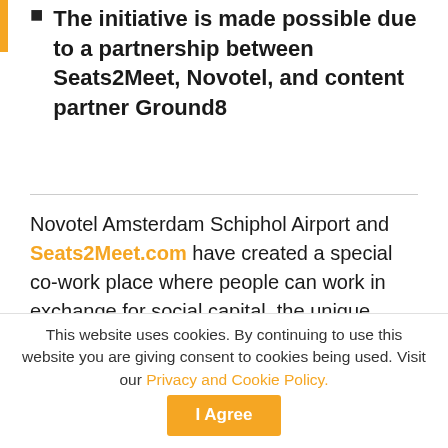The initiative is made possible due to a partnership between Seats2Meet, Novotel, and content partner Ground8
Novotel Amsterdam Schiphol Airport and Seats2Meet.com have created a special co-work place where people can work in exchange for social capital, the unique component of the sustainable Seats2meet business model.
It offers the possibility to co-workers and employees of the surrounding corporate companies to meet colleagues from other branches and to work together on issues or themes in an inspiring location. Different disciplines come together, which creates an increasing cooperation between local
This website uses cookies. By continuing to use this website you are giving consent to cookies being used. Visit our Privacy and Cookie Policy.